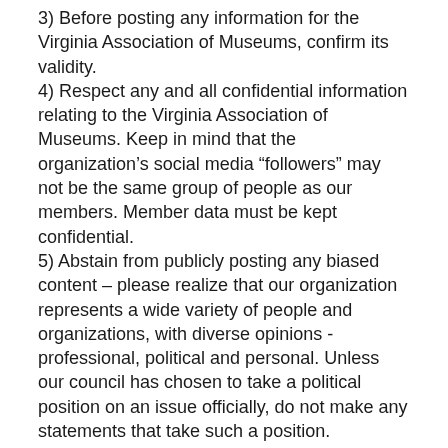3) Before posting any information for the Virginia Association of Museums, confirm its validity.
4) Respect any and all confidential information relating to the Virginia Association of Museums. Keep in mind that the organization’s social media “followers” may not be the same group of people as our members. Member data must be kept confidential.
5) Abstain from publicly posting any biased content – please realize that our organization represents a wide variety of people and organizations, with diverse opinions - professional, political and personal. Unless our council has chosen to take a political position on an issue officially, do not make any statements that take such a position.
6) Be respectful towards the organization, fellow employees, as well as business affiliates and prospective members.
7) When identifying yourself as an employee of the Virginia Association of Museums, use